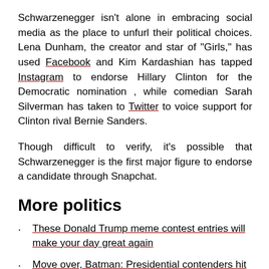Schwarzenegger isn't alone in embracing social media as the place to unfurl their political choices. Lena Dunham, the creator and star of "Girls," has used Facebook and Kim Kardashian has tapped Instagram to endorse Hillary Clinton for the Democratic nomination , while comedian Sarah Silverman has taken to Twitter to voice support for Clinton rival Bernie Sanders.
Though difficult to verify, it's possible that Schwarzenegger is the first major figure to endorse a candidate through Snapchat.
More politics
These Donald Trump meme contest entries will make your day great again
Move over, Batman: Presidential contenders hit the comics pages
If 'House of Cards' schemer Frank Underwood joined the US presidential race